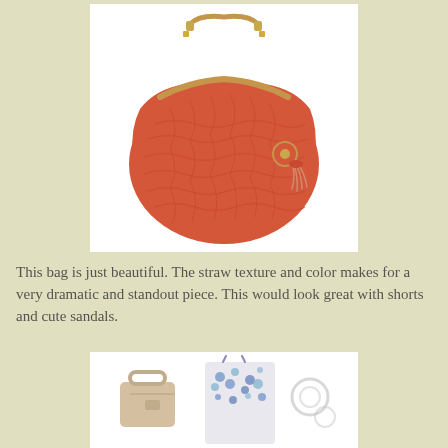[Figure (photo): Coral/orange crocheted straw hobo bag with tan leather strap and tassel detail, displayed on white background]
This bag is just beautiful.  The straw texture and color makes for a very dramatic and standout piece. This would look great with shorts and cute sandals.
[Figure (photo): Outfit flatlay showing a floral blue/white spaghetti strap top, a tan/beige structured handbag, and circular jewelry/accessories on white background]